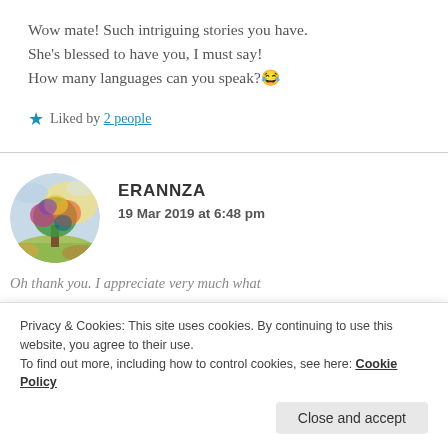Wow mate! Such intriguing stories you have. She’s blessed to have you, I must say! How many languages can you speak?😂
★ Liked by 2 people
ERANNZA
19 Mar 2019 at 6:48 pm
[Figure (illustration): Circular avatar image showing a colorful painted tree with multicolored foliage against a cloudy sky background]
Oh thank you. I appreciate very much what
Privacy & Cookies: This site uses cookies. By continuing to use this website, you agree to their use.
To find out more, including how to control cookies, see here: Cookie Policy
Close and accept
doctor said it was better to speak to me only